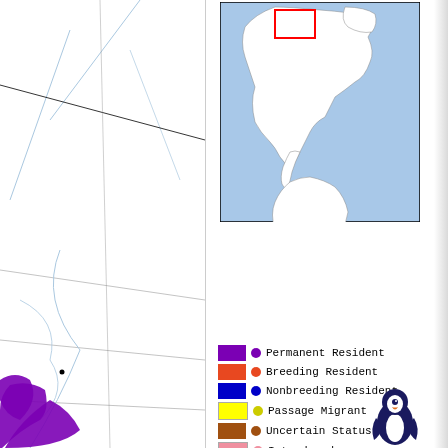[Figure (map): Left portion of a bird range map showing North/South America with purple shading indicating species range. Blue river lines and boundary lines visible. Dark purple filled area visible in lower left.]
[Figure (map): Inset overview map of the Americas showing North America, Central America, and South America in white on a light blue ocean background. A red rectangle outlines a region in southern North America/northern Central America.]
[Figure (infographic): Map legend showing color swatches, dots, and line symbols for: Permanent Resident (purple), Breeding Resident (orange), Nonbreeding Resident (blue), Passage Migrant (yellow), Uncertain Status (brown), Introduced (pink), Vagrant (green dot), Extirpated (red hatched), Historical Records Only (yellow hatched), National boundary (zigzag line), Subnational boundary (lighter zigzag), River (thinner line), Water body (light blue).]
[Figure (illustration): Partial illustration of a bird (likely a penguin or seabird) at the bottom center of the page, showing the upper body and head in dark blue/black and white coloring.]